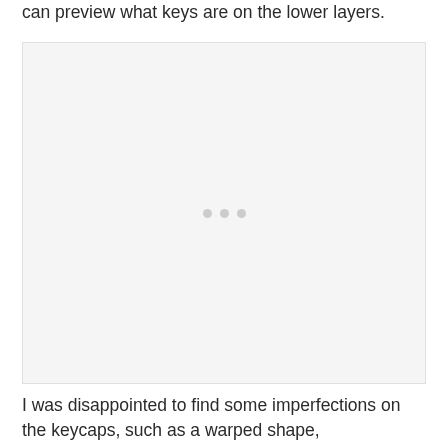can preview what keys are on the lower layers.
[Figure (photo): A light gray placeholder image box with three small gray dots in the center, representing a loading or missing image.]
I was disappointed to find some imperfections on the keycaps, such as a warped shape,